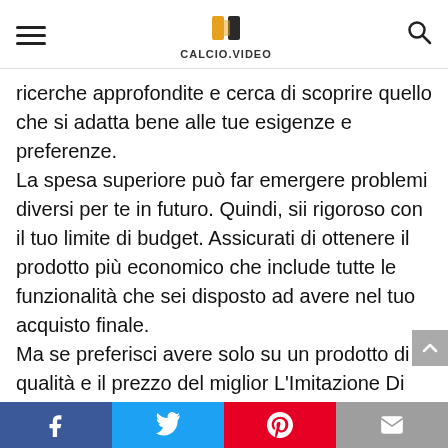CALCIO.VIDEO
ricerche approfondite e cerca di scoprire quello che si adatta bene alle tue esigenze e preferenze. La spesa superiore può far emergere problemi diversi per te in futuro. Quindi, sii rigoroso con il tuo limite di budget. Assicurati di ottenere il prodotto più economico che include tutte le funzionalità che sei disposto ad avere nel tuo acquisto finale. Ma se preferisci avere solo su un prodotto di qualità e il prezzo del miglior L'Imitazione Di Cristo non ti disturba davvero, vai a dare un'occhiata a quello che è caratterizzato dalle funzionalità più premium.
Passa attraverso le
Facebook | Twitter | Pinterest | Email